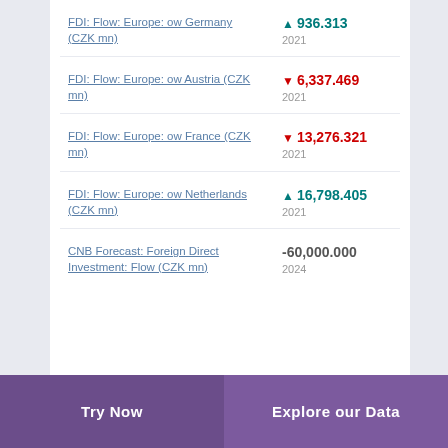FDI: Flow: Europe: ow Germany (CZK mn)
FDI: Flow: Europe: ow Austria (CZK mn)
FDI: Flow: Europe: ow France (CZK mn)
FDI: Flow: Europe: ow Netherlands (CZK mn)
CNB Forecast: Foreign Direct Investment: Flow (CZK mn)
Try Now | Explore our Data